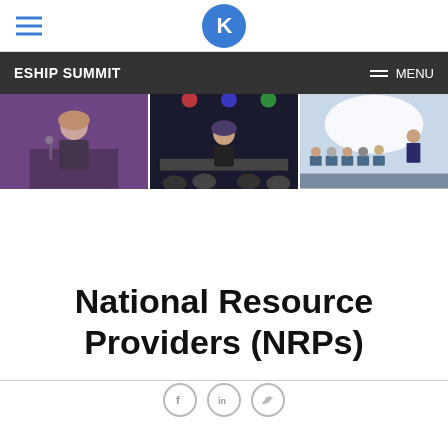ESHIP SUMMIT — MENU
[Figure (photo): Three photos side by side: a woman speaking at a podium with purple lighting, a performer on stage, and attendees seated in chairs at a conference session]
National Resource Providers (NRPs)